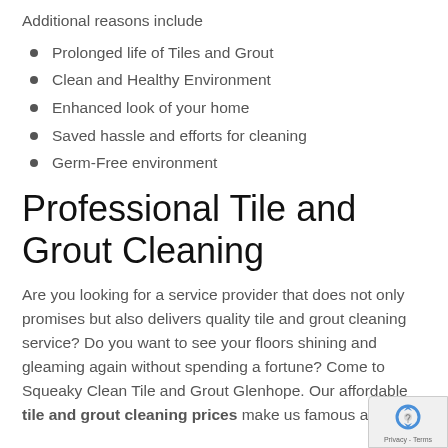Additional reasons include
Prolonged life of Tiles and Grout
Clean and Healthy Environment
Enhanced look of your home
Saved hassle and efforts for cleaning
Germ-Free environment
Professional Tile and Grout Cleaning
Are you looking for a service provider that does not only promises but also delivers quality tile and grout cleaning service? Do you want to see your floors shining and gleaming again without spending a fortune? Come to Squeaky Clean Tile and Grout Glenhope. Our affordable tile and grout cleaning prices make us famous among